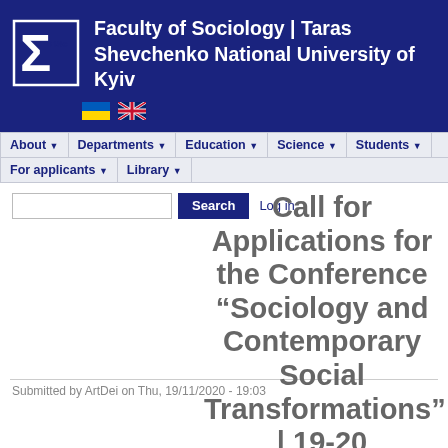Faculty of Sociology | Taras Shevchenko National University of Kyiv
[Figure (logo): University sigma/E logo in white on dark blue background]
[Figure (illustration): Ukrainian flag emoji and UK flag emoji side by side]
Navigation menu: About, Departments, Education, Science, Students, For applicants, Library
Search | Log in
Call for Applications for the Conference “Sociology and Contemporary Social Transformations” | 19-20 November 2020
Submitted by ArtDei on Thu, 19/11/2020 - 19:03